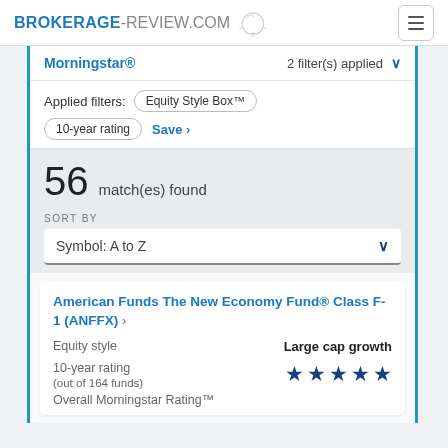BROKERAGE-REVIEW.COM
Morningstar® 2 filter(s) applied
Applied filters: Equity Style Box™ 10-year rating Save >
56 match(es) found
SORT BY Symbol: A to Z
American Funds The New Economy Fund® Class F-1 (ANFFX) > Equity style Large cap growth 10-year rating (out of 164 funds) ★★★★★ Overall Morningstar Rating™